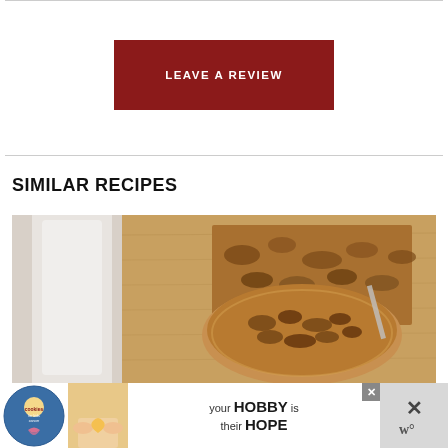[Figure (other): Leave a Review button — dark red/maroon rectangle with white uppercase bold text reading LEAVE A REVIEW]
SIMILAR RECIPES
[Figure (photo): Photo of baked pecan/granola-type cookie bars with a glass of milk visible on the left, arranged on a wooden surface]
[Figure (other): Advertisement banner at the bottom: cookies for kids cancer logo on the left, text reading 'your HOBBY is their HOPE' in the center, X close button on the right]